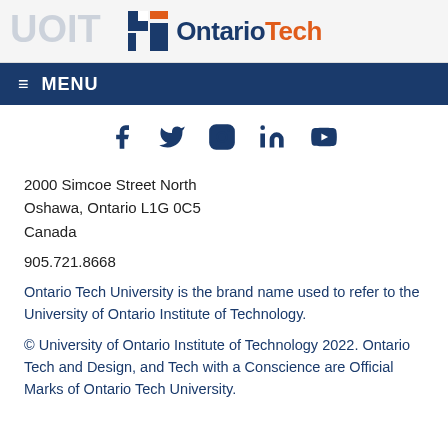[Figure (logo): Ontario Tech University logo with icon and wordmark on light background header]
≡ MENU
[Figure (infographic): Social media icons: Facebook, Twitter, Instagram, LinkedIn, YouTube — all in dark navy blue]
2000 Simcoe Street North
Oshawa, Ontario L1G 0C5
Canada
905.721.8668
Ontario Tech University is the brand name used to refer to the University of Ontario Institute of Technology.
© University of Ontario Institute of Technology 2022. Ontario Tech and Design, and Tech with a Conscience are Official Marks of Ontario Tech University.